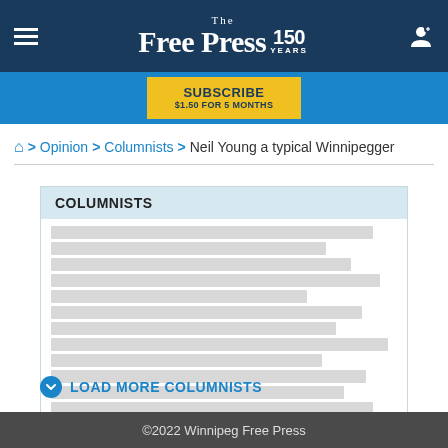The Free Press 150 YEARS
SUBSCRIBE $1.50 FOR 5 MONTHS
⌂ > Opinion > Columnists > Neil Young a typical Winnipegger
COLUMNISTS
LOAD MORE COLUMNISTS
©2022 Winnipeg Free Press